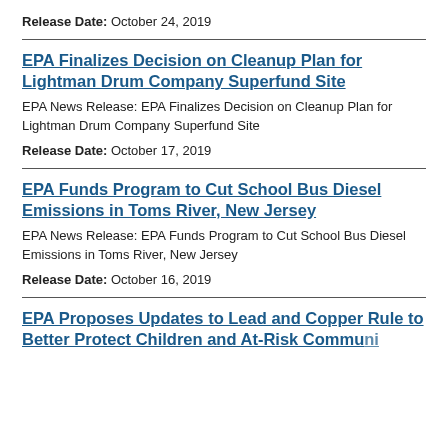Release Date: October 24, 2019
EPA Finalizes Decision on Cleanup Plan for Lightman Drum Company Superfund Site
EPA News Release: EPA Finalizes Decision on Cleanup Plan for Lightman Drum Company Superfund Site
Release Date: October 17, 2019
EPA Funds Program to Cut School Bus Diesel Emissions in Toms River, New Jersey
EPA News Release: EPA Funds Program to Cut School Bus Diesel Emissions in Toms River, New Jersey
Release Date: October 16, 2019
EPA Proposes Updates to Lead and Copper Rule to Better Protect Children and At-Risk Communities